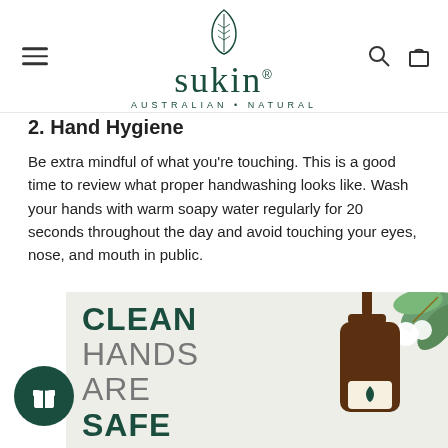[Figure (logo): Sukin logo with leaf icon above, text 'sukin' in dark green serif font, subtitle 'AUSTRALIAN • NATURAL'. Hamburger menu icon on left, search and bag icons on right.]
2. Hand Hygiene
Be extra mindful of what you're touching. This is a good time to review what proper handwashing looks like. Wash your hands with warm soapy water regularly for 20 seconds throughout the day and avoid touching your eyes, nose, and mouth in public.
[Figure (illustration): Promotional banner with text 'CLEAN HANDS ARE SAFE HANDS' in dark green and grey on light background. Illustrated soap pump bottle on right with white flowers and eucalyptus leaves. Dark green circle with gift box icon on lower left.]